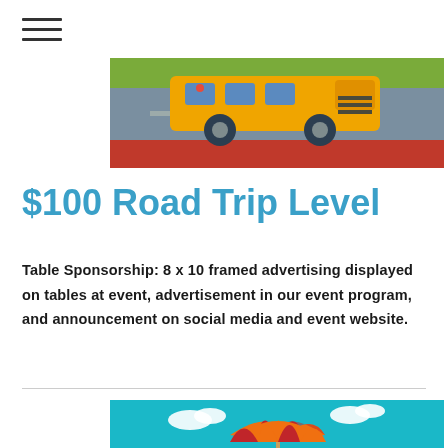[Figure (illustration): Flat illustration of a yellow bus/vehicle on a road with green grass stripe at top and red stripe at bottom]
$100 Road Trip Level
Table Sponsorship: 8 x 10 framed advertising displayed on tables at event, advertisement in our event program, and announcement on social media and event website.
[Figure (illustration): Flat illustration of a beach/lake scene with a colorful orange and red striped umbrella, green pine trees, and a teal water background with white clouds]